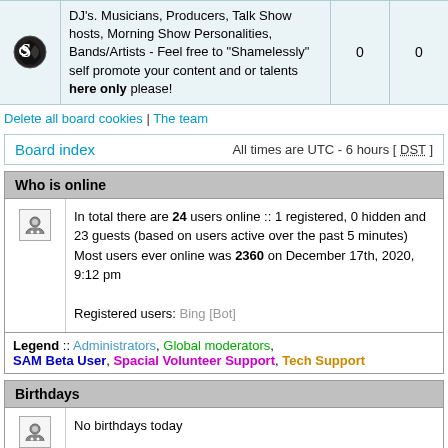| icon | description | 0 | 0 |
| --- | --- | --- | --- |
| [icon] | DJ's. Musicians, Producers, Talk Show hosts, Morning Show Personalities, Bands/Artists - Feel free to "Shamelessly" self promote your content and or talents here only please! | 0 | 0 |
Delete all board cookies | The team
Board index   All times are UTC - 6 hours [ DST ]
Who is online
In total there are 24 users online :: 1 registered, 0 hidden and 23 guests (based on users active over the past 5 minutes)
Most users ever online was 2360 on December 17th, 2020, 9:12 pm

Registered users: Bing [Bot]
Legend :: Administrators, Global moderators, SAM Beta User, Spacial Volunteer Support, Tech Support
Birthdays
No birthdays today